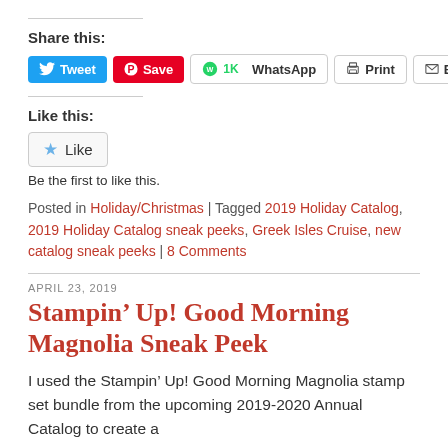Share this:
[Figure (screenshot): Share buttons row: Tweet (blue Twitter button), Save (red Pinterest button), 1K WhatsApp button, Print button, Email button]
Like this:
[Figure (screenshot): Like button with star icon]
Be the first to like this.
Posted in Holiday/Christmas | Tagged 2019 Holiday Catalog, 2019 Holiday Catalog sneak peeks, Greek Isles Cruise, new catalog sneak peeks | 8 Comments
APRIL 23, 2019
Stampin’ Up! Good Morning Magnolia Sneak Peek
I used the Stampin’ Up! Good Morning Magnolia stamp set bundle from the upcoming 2019-2020 Annual Catalog to create a